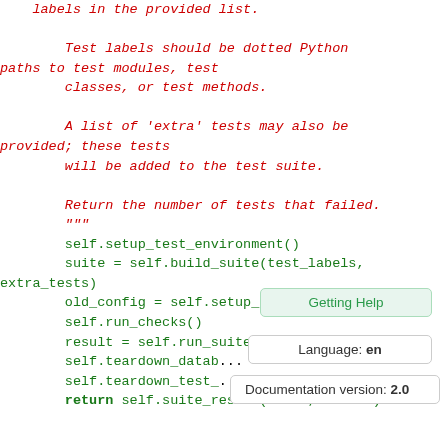labels in the provided list.

        Test labels should be dotted Python
paths to test modules, test
        classes, or test methods.

        A list of 'extra' tests may also be
provided; these tests
        will be added to the test suite.

        Return the number of tests that failed.
        """
        self.setup_test_environment()
        suite = self.build_suite(test_labels,
extra_tests)
        old_config = self.setup_databases()
        self.run_checks()
        result = self.run_suite(suite,
        self.teardown_datab...
        self.teardown_test_...
        return self.suite_result(suite, result)
Getting Help
Language: en
Documentation version: 2.0